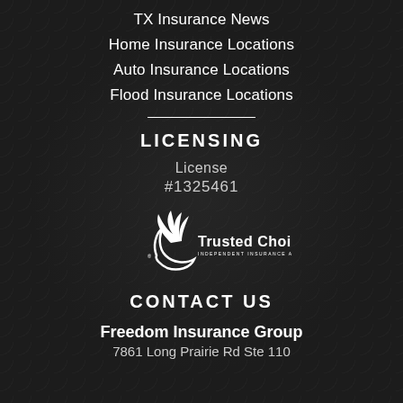TX Insurance News
Home Insurance Locations
Auto Insurance Locations
Flood Insurance Locations
LICENSING
License #1325461
[Figure (logo): Trusted Choice Independent Insurance Agents logo with white wing/bird graphic and circular swoosh]
CONTACT US
Freedom Insurance Group
7861 Long Prairie Rd Ste 110